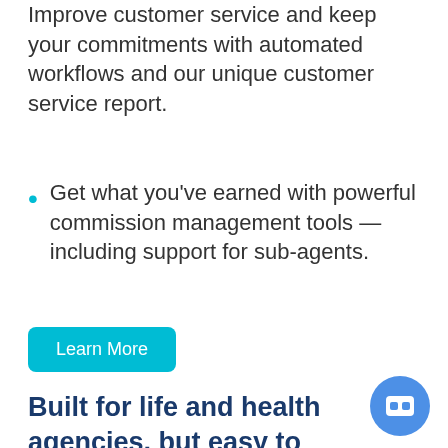Improve customer service and keep your commitments with automated workflows and our unique customer service report.
Get what you've earned with powerful commission management tools — including support for sub-agents.
Learn More
Built for life and health agencies, but easy to